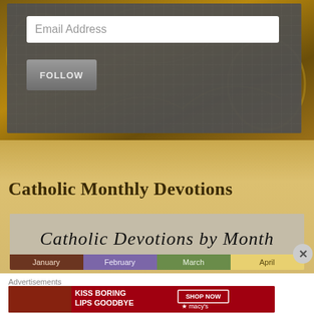Email Address
FOLLOW
Catholic Monthly Devotions
[Figure (illustration): Catholic Devotions by Month banner with cursive script title and month tabs: January (brown), February (purple), March (green), April (yellow)]
Advertisements
[Figure (photo): Macy's advertisement: KISS BORING LIPS GOODBYE with SHOP NOW button and Macy's star logo on red background]